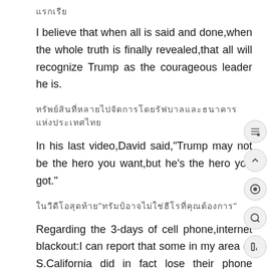[Thai script characters]
I believe that when all is said and done,when the whole truth is finally revealed,that all will recognize Trump as the courageous leader he is.
[Thai script characters - long line]
In his last video,David said,"Trump may not be the hero you want,but he's the hero you got."
[Thai script characters with quotes]
Regarding the 3-days of cell phone,internet blackout:I can report that some in my area of S.California did in fact lose their phone service on Monday,March 30th.The phone blackouts are confirmed in Judy Byington's Special Restored Republic report,as of April 3,2020:(1.)